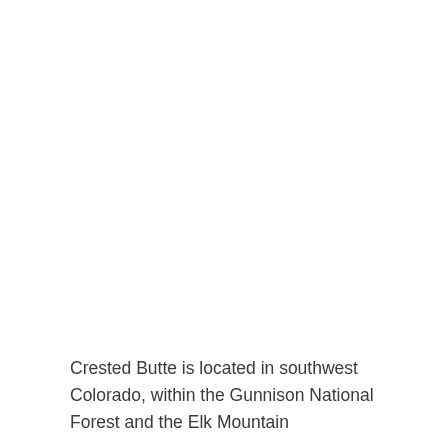Crested Butte is located in southwest Colorado, within the Gunnison National Forest and the Elk Mountain